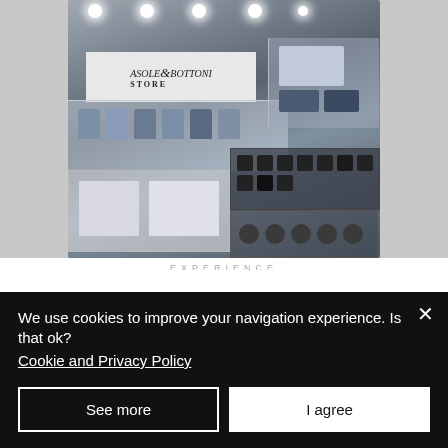[Figure (photo): Interior of Asole & Bottoni Store display case showing shirts, accessories, and buttons on illuminated shelves]
EXPERIENCE
We use cookies to improve your navigation experience. Is that ok?
Cookie and Privacy Policy
See more
I agree